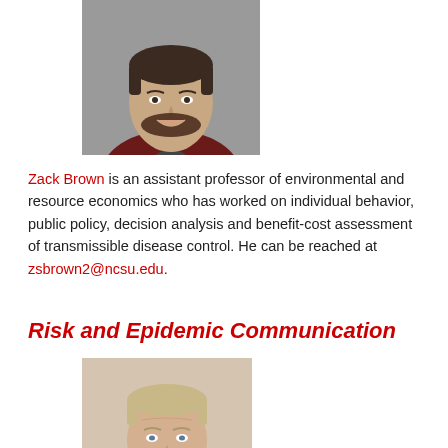[Figure (photo): Headshot of Zack Brown, a young man with dark beard wearing a dark red blazer, smiling, against gray background]
Zack Brown is an assistant professor of environmental and resource economics who has worked on individual behavior, public policy, decision analysis and benefit-cost assessment of transmissible disease control. He can be reached at zsbrown2@ncsu.edu.
Risk and Epidemic Communication
[Figure (photo): Headshot of a middle-aged man with short gray-blond hair, light skin, slight smile, wearing a white shirt]